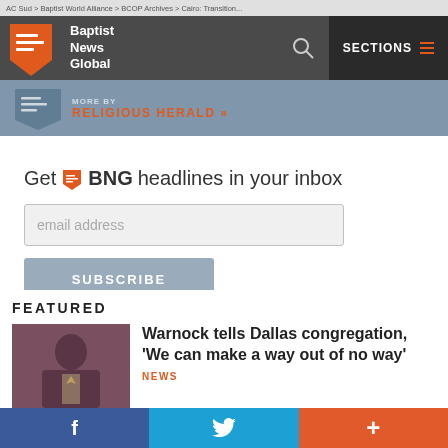Baptist News Global — SECTIONS
MORE BY RELIGIOUS HERALD »
Get BNG headlines in your inbox
email address
SUBSCRIBE
FEATURED
Warnock tells Dallas congregation, 'We can make a way out of no way'
NEWS
f  (twitter bird)  +